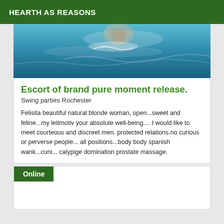HEARTH AS REASONS
[Figure (photo): Swimming or water splashing photo, showing water in teal/blue tones with what appears to be a person swimming]
Escort of brand pure moment release.
Swing parties Rochester
Felisita beautiful natural blonde woman, open...sweet and feline...my leitmotiv your absolute well-being.... I would like to meet courteous and discreet men. protected relations.no curious or perverse people... all positions...body body spanish wank...cuni... calypige domination prostate massage.
Online